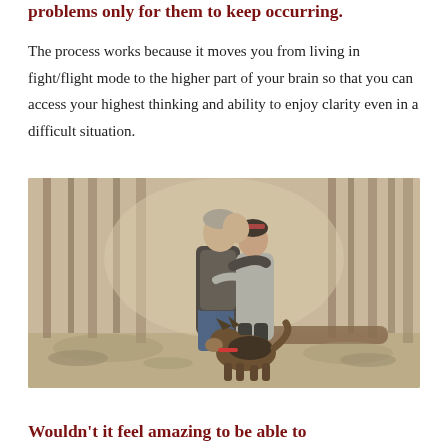problems only for them to keep occurring.
The process works because it moves you from living in fight/flight mode to the higher part of your brain so that you can access your highest thinking and ability to enjoy clarity even in a difficult situation.
[Figure (photo): A middle-aged couple standing together in an autumn forest, the man kissing the woman on the head while she leans into him, with a German Shepherd dog sitting at their feet. The forest background is soft and warm-toned.]
Wouldn't it feel amazing to be able to